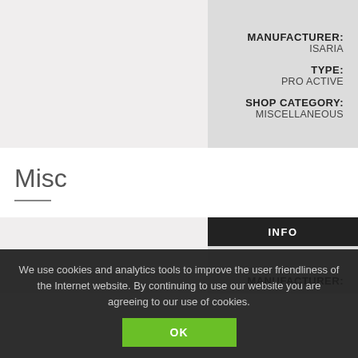MANUFACTURER: ISARIA
TYPE: PRO ACTIVE
SHOP CATEGORY: MISCELLANEOUS
Misc
INFO
MANUFACTURER:
We use cookies and analytics tools to improve the user friendliness of the Internet website. By continuing to use our website you are agreeing to our use of cookies.
OK